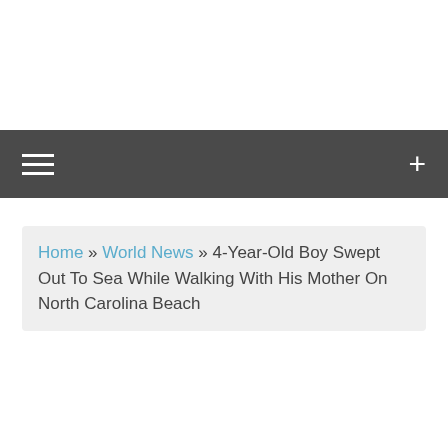Navigation bar with hamburger menu and plus icon
Home » World News » 4-Year-Old Boy Swept Out To Sea While Walking With His Mother On North Carolina Beach